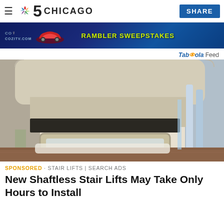NBC 5 CHICAGO | SHARE
[Figure (other): COZI TV advertisement banner with text COZITV.COM and RAMBLER SWEEPSTAKES with a red car image on a dark blue background]
Taboola Feed
[Figure (photo): Close-up photo of a stair lift device showing its beige/tan colored seat and footrest platform with chrome rails against a staircase]
SPONSORED · STAIR LIFTS | SEARCH ADS
New Shaftless Stair Lifts May Take Only Hours to Install